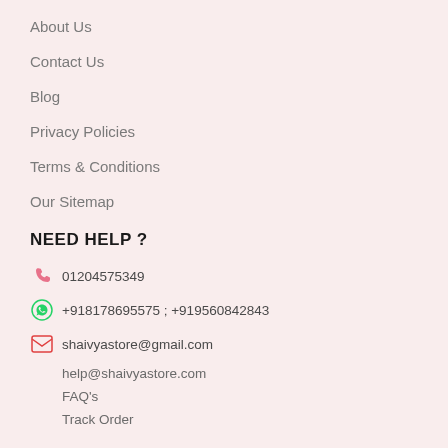About Us
Contact Us
Blog
Privacy Policies
Terms & Conditions
Our Sitemap
NEED HELP ?
01204575349
+918178695575 ; +919560842843
shaivyastore@gmail.com
help@shaivyastore.com
FAQ's
Track Order